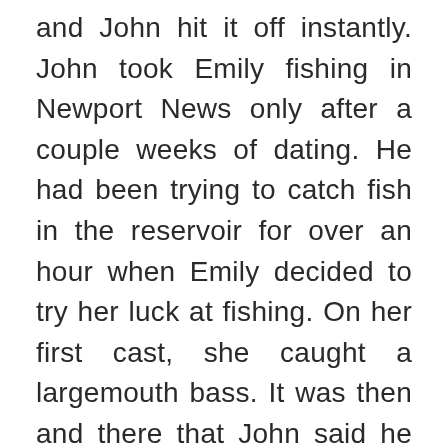and John hit it off instantly. John took Emily fishing in Newport News only after a couple weeks of dating. He had been trying to catch fish in the reservoir for over an hour when Emily decided to try her luck at fishing. On her first cast, she caught a largemouth bass. It was then and there that John said he fell in love with her. From that day forward, he knew that Emily would always be his greatest catch.